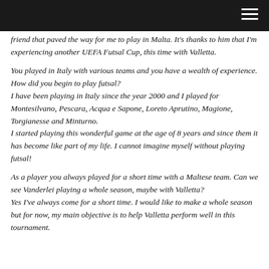[Navigation bar with hamburger menu]
friend that paved the way for me to play in Malta. It's thanks to him that I'm experiencing another UEFA Futsal Cup, this time with Valletta.
You played in Italy with various teams and you have a wealth of experience. How did you begin to play futsal?
I have been playing in Italy since the year 2000 and I played for Montesilvano, Pescara, Acqua e Sapone, Loreto Aprutino, Magione, Torgianesse and Minturno.
I started playing this wonderful game at the age of 8 years and since them it has become like part of my life. I cannot imagine myself without playing futsal!
As a player you always played for a short time with a Maltese team. Can we see Vanderlei playing a whole season, maybe with Valletta?
Yes I've always come for a short time. I would like to make a whole season but for now, my main objective is to help Valletta perform well in this tournament.